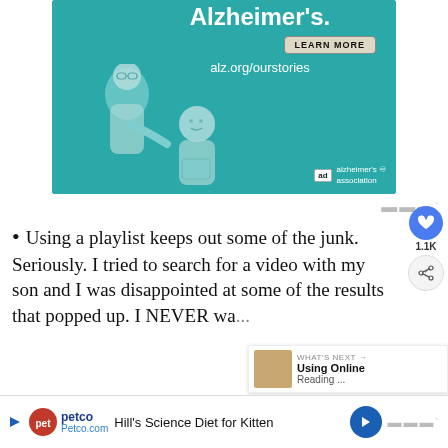[Figure (illustration): Alzheimer's Association advertisement banner with teal background showing two illustrated figures (elderly people), a 'LEARN MORE' button, URL alz.org/ourstories, and the Alzheimer's Association logo]
Using a playlist keeps out some of the junk. Seriously. I tried to search for a video with my son and I was disappointed at some of the results that popped up. I NEVER wa...
[Figure (infographic): Social interaction bar with heart icon showing 1.1K likes and a share button]
[Figure (infographic): What's Next panel showing 'Using Online Reading...' article thumbnail]
[Figure (advertisement): Bottom banner ad for Hill's Science Diet for Kitten at Petco.com with Petco logo and navigation arrow]